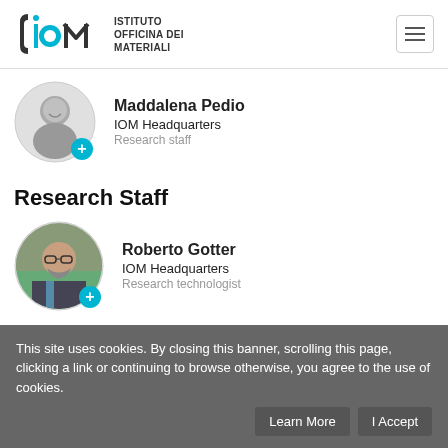IOM - Istituto Officina dei Materiali
[Figure (photo): Circular photo of Maddalena Pedio, a woman smiling, in grayscale, with a teal plus button overlay]
Maddalena Pedio
IOM Headquarters
Research staff
Research Staff
[Figure (photo): Circular photo of Roberto Gotter, a man with glasses and beard wearing a suit, with a teal plus button overlay]
Roberto Gotter
IOM Headquarters
Research technologist
This site uses cookies. By closing this banner, scrolling this page, clicking a link or continuing to browse otherwise, you agree to the use of cookies.